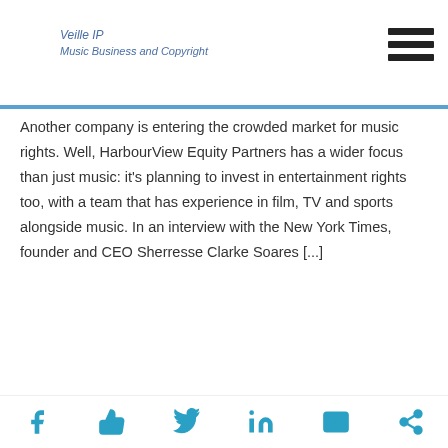Veille IP Music Business and Copyright
Another company is entering the crowded market for music rights. Well, HarbourView Equity Partners has a wider focus than just music: it's planning to invest in entertainment rights too, with a team that has experience in film, TV and sports alongside music. In an interview with the New York Times, founder and CEO Sherresse Clarke Soares [...]
Read More
NMPA and Roblox reach a deal to dismiss $200m